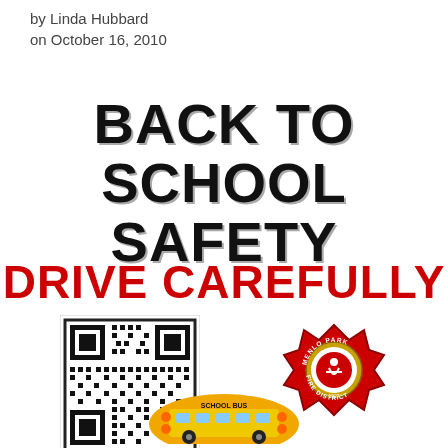by Linda Hubbard
on October 16, 2010
BACK TO SCHOOL SAFETY
DRIVE CAREFULLY
[Figure (other): QR code with SCAN ME label below]
[Figure (logo): Menlo Park Fire District circular badge logo in red and gold]
[Figure (logo): School bus logo partially visible at bottom]